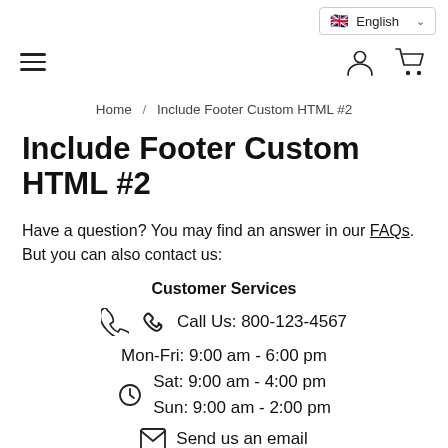English (language selector)
Hamburger menu, user icon, cart icon
Home / Include Footer Custom HTML #2
Include Footer Custom HTML #2
Have a question? You may find an answer in our FAQs. But you can also contact us:
Customer Services
Call Us: 800-123-4567
Mon-Fri: 9:00 am - 6:00 pm
Sat: 9:00 am - 4:00 pm
Sun: 9:00 am - 2:00 pm
Send us an email